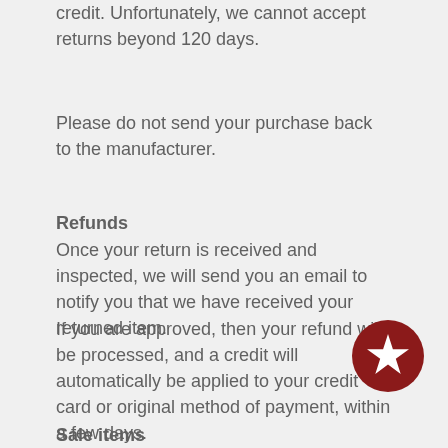credit. Unfortunately, we cannot accept returns beyond 120 days.
Please do not send your purchase back to the manufacturer.
Refunds
Once your return is received and inspected, we will send you an email to notify you that we have received your returned item.
If you are approved, then your refund will be processed, and a credit will automatically be applied to your credit card or original method of payment, within a few days.
Sale items